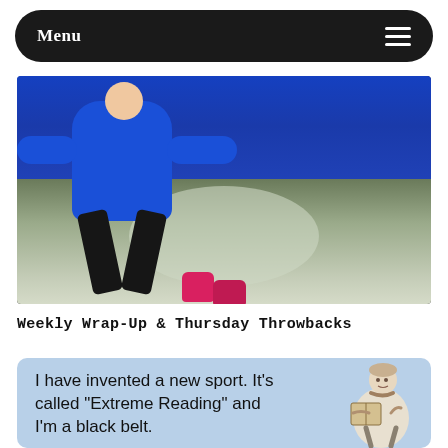Menu
[Figure (photo): Child lying on snowy ground making a snow angel, wearing a blue jacket, black pants, and bright pink boots. The ground appears to be lightly dusted with snow.]
Weekly Wrap-Up & Thursday Throwbacks
[Figure (illustration): Meme card with light blue background. Text reads: 'I have invented a new sport. It's called "Extreme Reading" and I'm a black belt.' A vintage-style cartoon illustration of a person reading a book appears on the right side.]